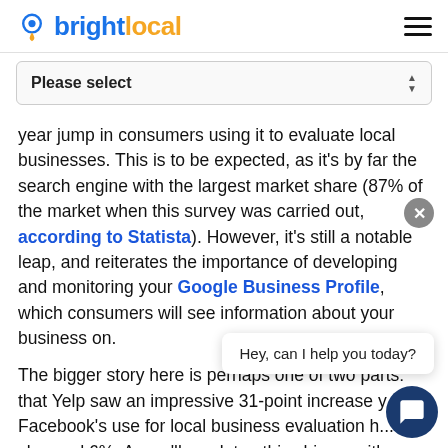brightlocal
Please select
year jump in consumers using it to evaluate local businesses. This is to be expected, as it's by far the search engine with the largest market share (87% of the market when this survey was carried out, according to Statista). However, it's still a notable leap, and reiterates the importance of developing and monitoring your Google Business Profile, which consumers will see information about your business on.
The bigger story here is perhaps one of two parts: that Yelp saw an impressive 31-point increase y... Facebook's use for local business evaluation h... slumped 6%. As we'll see later, this chimes with an